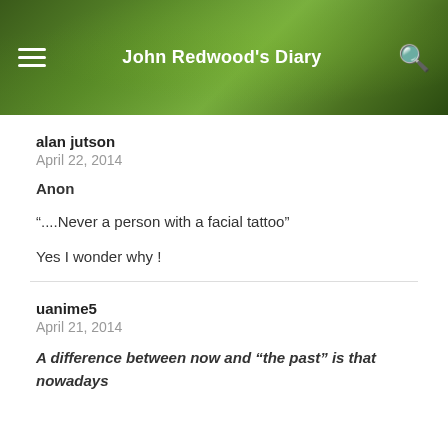John Redwood's Diary
alan jutson
April 22, 2014
Anon
“....Never a person with a facial tattoo”
Yes I wonder why !
uanime5
April 21, 2014
A difference between now and “the past” is that nowadays